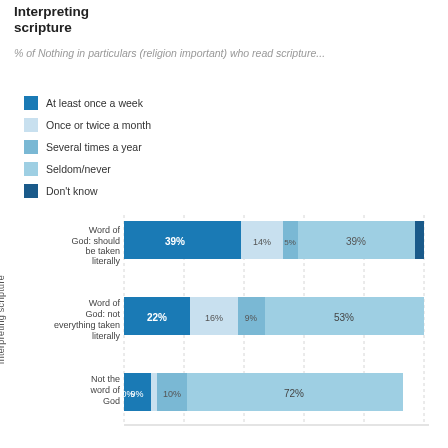Interpreting scripture
% of Nothing in particulars (religion important) who read scripture...
At least once a week
Once or twice a month
Several times a year
Seldom/never
Don't know
[Figure (stacked-bar-chart): Interpreting scripture]